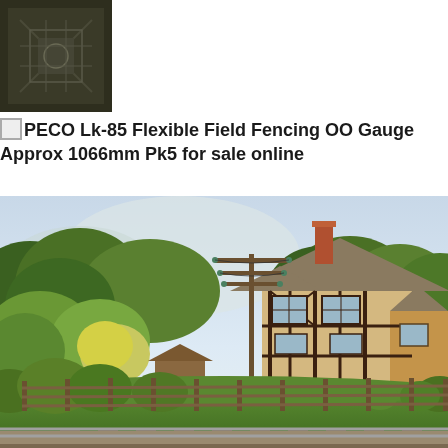[Figure (photo): Small dark decorative image, appears to show an embossed or carved texture pattern in dark green/brown tones]
PECO Lk-85 Flexible Field Fencing OO Gauge Approx 1066mm Pk5 for sale online
[Figure (photo): Model railway diorama photograph showing a Tudor-style cottage/station building with timber framing, surrounded by lush green trees and bushes, a telegraph pole in the foreground, wooden post-and-rail field fencing along the track, and railway tracks visible in the lower foreground. Mist or cloud in the background sky.]